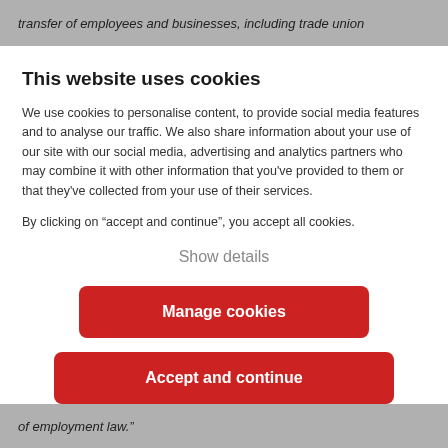transfer of employees and businesses, including trade union
This website uses cookies
We use cookies to personalise content, to provide social media features and to analyse our traffic. We also share information about your use of our site with our social media, advertising and analytics partners who may combine it with other information that you've provided to them or that they've collected from your use of their services.
By clicking on “accept and continue”, you accept all cookies.
Show details
Manage cookies
Accept and continue
of employment law.”